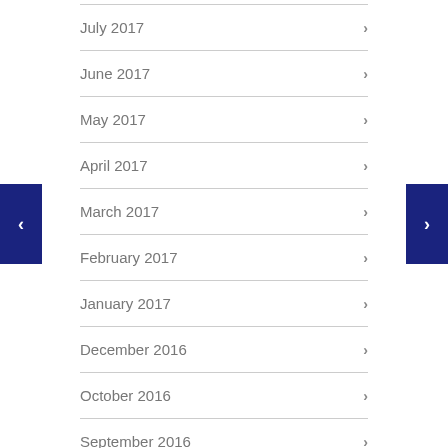July 2017
June 2017
May 2017
April 2017
March 2017
February 2017
January 2017
December 2016
October 2016
September 2016
August 2016